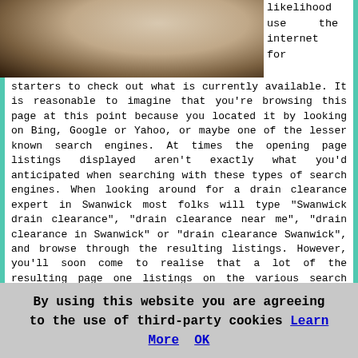[Figure (photo): Blurred close-up photo of a person's face, dark and warm toned background]
likelihood use the internet for starters to check out what is currently available. It is reasonable to imagine that you're browsing this page at this point because you located it by looking on Bing, Google or Yahoo, or maybe one of the lesser known search engines. At times the opening page listings displayed aren't exactly what you'd anticipated when searching with these types of search engines. When looking around for a drain clearance expert in Swanwick most folks will type "Swanwick drain clearance", "drain clearance near me", "drain clearance in Swanwick" or "drain clearance Swanwick", and browse through the resulting listings. However, you'll soon come to realise that a lot of the resulting page one listings on the various search engines are going to be either "paid for" advertising or listings for the top trade portals such as Rated People, My Builder, Checkatrade, TrustaTrader or Check My Trader or web directories like Yelp, Yell, Scoot or ThreeBestRated. If you check out the 2nd or 3rd pages of the listing results you may perhaps be in a better position to find websites
By using this website you are agreeing to the use of third-party cookies Learn More OK